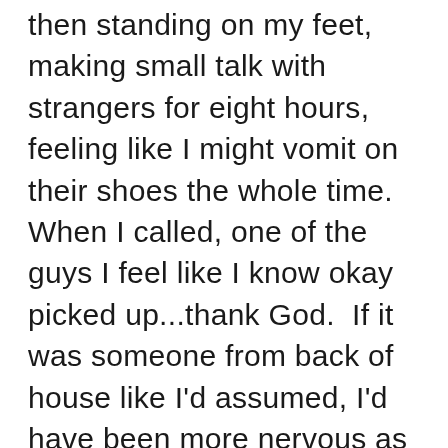then standing on my feet, making small talk with strangers for eight hours, feeling like I might vomit on their shoes the whole time.  When I called, one of the guys I feel like I know okay picked up...thank God.  If it was someone from back of house like I'd assumed, I'd have been more nervous as I don't have much to do with them.  The guy was lovely and told me I'd need a medical certificate (I'd already mentally prepared for that), and told me to get better.  That was it.  Painless.  I then called the doctors and made an appointment for much later in the afternoon, and settled in on the couch, relieved I didn't have to work.  I slept off the